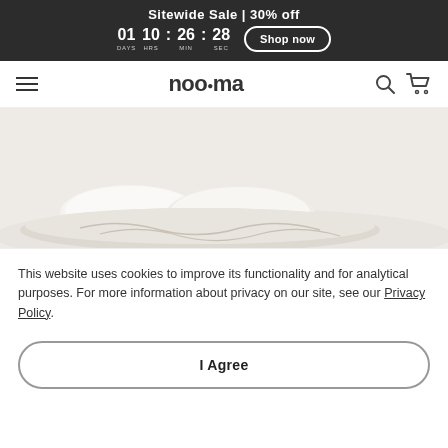Sitewide Sale | 30% off — 01 DAYS 10 HRS : 26 MIN : 28 SEC — Shop now
noo.ma
[Figure (photo): Hero image of a white bed with pillows and blankets on a light grey background]
This website uses cookies to improve its functionality and for analytical purposes. For more information about privacy on our site, see our Privacy Policy.
I Agree